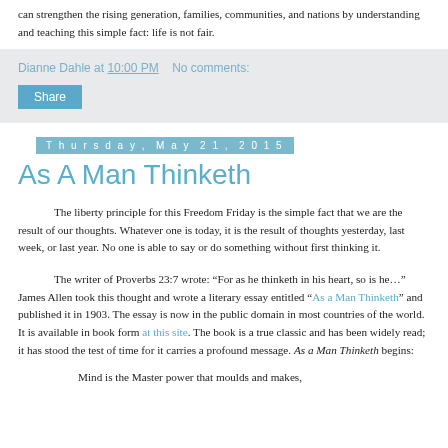can strengthen the rising generation, families, communities, and nations by understanding and teaching this simple fact:  life is not fair.
Dianne Dahle at 10:00 PM   No comments:
Share
Thursday, May 21, 2015
As A Man Thinketh
The liberty principle for this Freedom Friday is the simple fact that we are the result of our thoughts.  Whatever one is today, it is the result of thoughts yesterday, last week, or last year.  No one is able to say or do something without first thinking it.
The writer of Proverbs 23:7 wrote:  “For as he thinketh in his heart, so is he…”  James Allen took this thought and wrote a literary essay entitled “As a Man Thinketh” and published it in 1903.  The essay is now in the public domain in most countries of the world.  It is available in book form at this site.  The book is a true classic and has been widely read; it has stood the test of time for it carries a profound message.  As a Man Thinketh begins:
Mind is the Master power that moulds and makes,